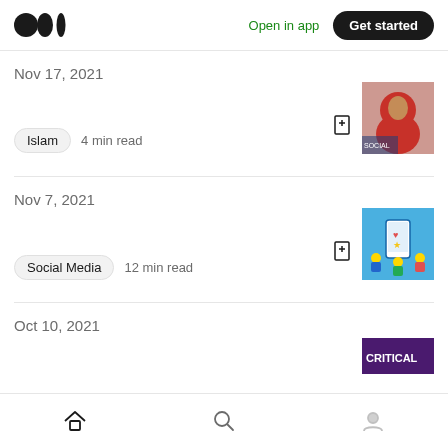Medium — Open in app | Get started
Nov 17, 2021
Islam  4 min read
[Figure (photo): Thumbnail image of a woman wearing a red hijab at what appears to be a protest or event]
Nov 7, 2021
Social Media  12 min read
[Figure (illustration): Colorful illustration on blue background showing people holding up a large smartphone with social media icons]
Oct 10, 2021
[Figure (photo): Partially visible thumbnail showing text CRITICAL on a dark background]
Home | Search | Profile